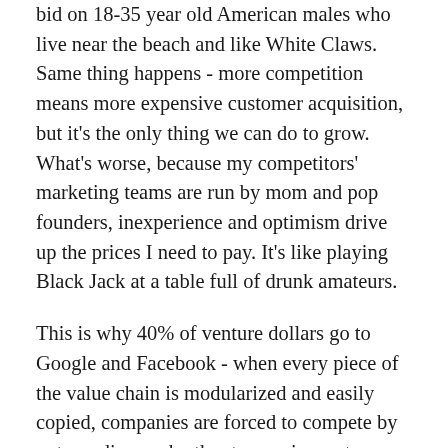bid on 18-35 year old American males who live near the beach and like White Claws. Same thing happens - more competition means more expensive customer acquisition, but it's the only thing we can do to grow. What's worse, because my competitors' marketing teams are run by mom and pop founders, inexperience and optimism drive up the prices I need to pay. It's like playing Black Jack at a table full of drunk amateurs.
This is why 40% of venture dollars go to Google and Facebook - when every piece of the value chain is modularized and easily copied, companies are forced to compete by outspending each other to acquire customers.
It's also why it's so much better to be the companies arming the rebels than to be the rebels themselves. Who wins and loses here?